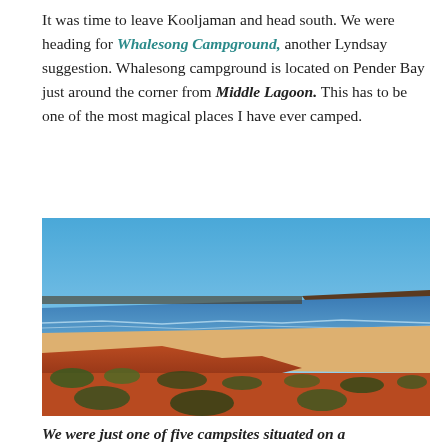It was time to leave Kooljaman and head south. We were heading for Whalesong Campground, another Lyndsay suggestion. Whalesong campground is located on Pender Bay just around the corner from Middle Lagoon. This has to be one of the most magical places I have ever camped.
[Figure (photo): A coastal landscape showing a sandy beach with red-orange dunes and scrubby vegetation in the foreground, blue ocean waves in the middle distance, and a clear blue sky above. Red cliffs or headland visible to the right.]
We were just one of five campsites situated on a